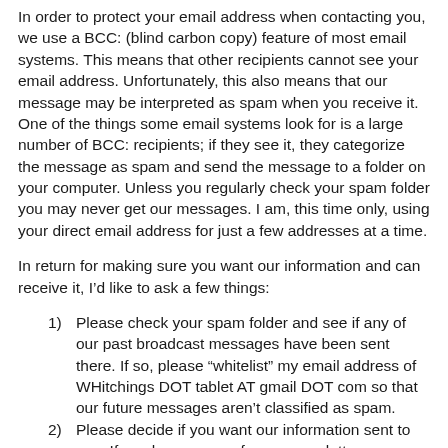In order to protect your email address when contacting you, we use a BCC: (blind carbon copy) feature of most email systems. This means that other recipients cannot see your email address. Unfortunately, this also means that our message may be interpreted as spam when you receive it. One of the things some email systems look for is a large number of BCC: recipients; if they see it, they categorize the message as spam and send the message to a folder on your computer. Unless you regularly check your spam folder you may never get our messages. I am, this time only, using your direct email address for just a few addresses at a time.
In return for making sure you want our information and can receive it, I’d like to ask a few things:
1)    Please check your spam folder and see if any of our past broadcast messages have been sent there. If so, please “whitelist” my email address of WHitchings DOT tablet AT gmail DOT com so that our future messages aren’t classified as spam.
2)    Please decide if you want our information sent to you. If you have no use for our newsletter, or simply don’t participate in the club anymore, do nothing. I will be